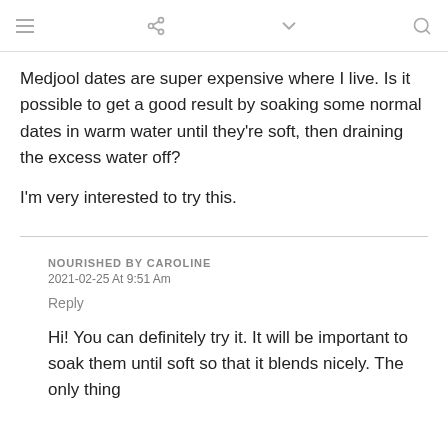≡  ⋮  ∨  🔍
Medjool dates are super expensive where I live. Is it possible to get a good result by soaking some normal dates in warm water until they're soft, then draining the excess water off?
I'm very interested to try this.
NOURISHED BY CAROLINE
2021-02-25 At 9:51 Am
Reply
Hi! You can definitely try it. It will be important to soak them until soft so that it blends nicely. The only thing